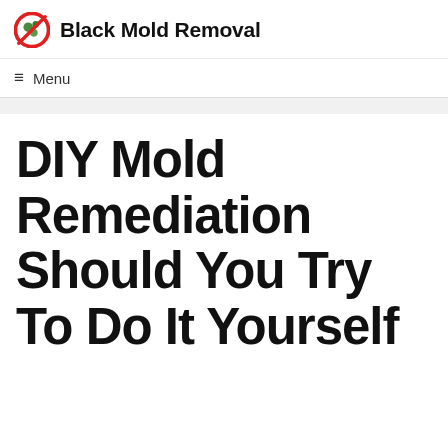Black Mold Removal
☰ Menu
DIY Mold Remediation Should You Try To Do It Yourself